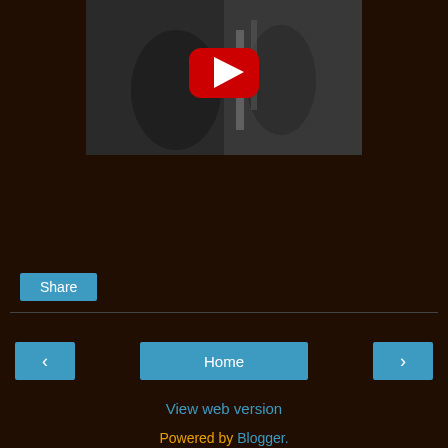[Figure (screenshot): YouTube video thumbnail showing a black and white image of people with a red YouTube play button overlay]
Share
< Home >
View web version
Powered by Blogger.